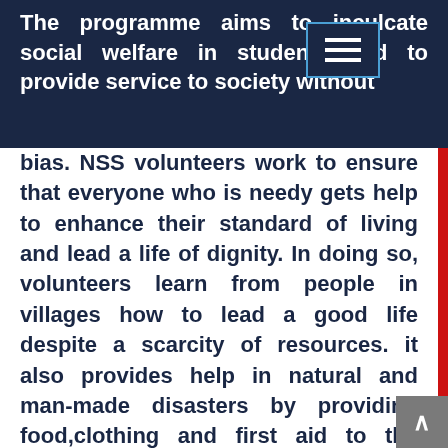The programme aims to inculcate social welfare in students and to provide service to society without bias. NSS volunteers work to ensure that everyone who is needy gets help to enhance their standard of living and lead a life of dignity. In doing so, volunteers learn from people in villages how to lead a good life despite a scarcity of resources. it also provides help in natural and man-made disasters by providing food,clothing and first aid to the disaster victims.
NSS Day:
NSS was formally launched on 24th September, 1969, the birth centenary year of the Father of the Nation. Therefore 24 september is celebrated